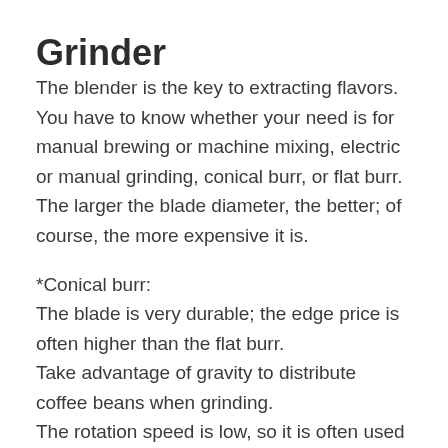Grinder
The blender is the key to extracting flavors. You have to know whether your need is for manual brewing or machine mixing, electric or manual grinding, conical burr, or flat burr. The larger the blade diameter, the better; of course, the more expensive it is.
*Conical burr:
The blade is very durable; the edge price is often higher than the flat burr.
Take advantage of gravity to distribute coffee beans when grinding.
The rotation speed is low, so it is often used for